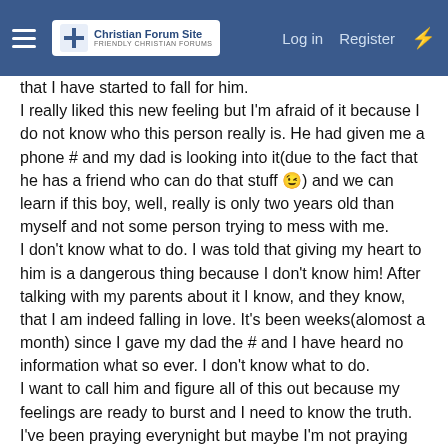Christian Forum Site — Log in  Register
that I have started to fall for him.
I really liked this new feeling but I'm afraid of it because I do not know who this person really is. He had given me a phone # and my dad is looking into it(due to the fact that he has a friend who can do that stuff 😙) and we can learn if this boy, well, really is only two years old than myself and not some person trying to mess with me.
I don't know what to do. I was told that giving my heart to him is a dangerous thing because I don't know him! After talking with my parents about it I know, and they know, that I am indeed falling in love. It's been weeks(alomost a month) since I gave my dad the # and I have heard no information what so ever. I don't know what to do.
I want to call him and figure all of this out because my feelings are ready to burst and I need to know the truth. I've been praying everynight but maybe I'm not praying for the right things. I thought falling in love for this first time was going to be great but honestly I'm just scared, confused, angered, but so happy at the same time. I mean I hate these feelings but I don't want